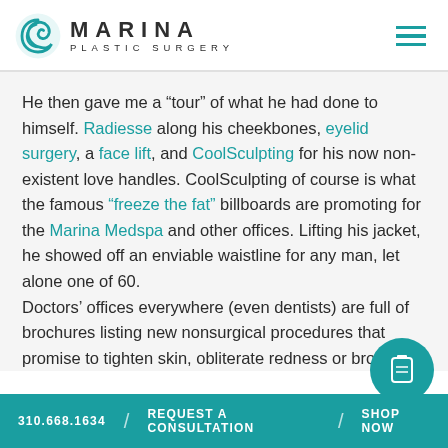[Figure (logo): Marina Plastic Surgery logo with teal swirl icon and text MARINA PLASTIC SURGERY]
He then gave me a “tour” of what he had done to himself. Radiesse along his cheekbones, eyelid surgery, a face lift, and CoolSculpting for his now non-existent love handles. CoolSculpting of course is what the famous “freeze the fat” billboards are promoting for the Marina Medspa and other offices. Lifting his jacket, he showed off an enviable waistline for any man, let alone one of 60.
Doctors' offices everywhere (even dentists) are full of brochures listing new nonsurgical procedures that promise to tighten skin, obliterate redness or bro…
310.668.1634 / REQUEST A CONSULTATION / SHOP NOW